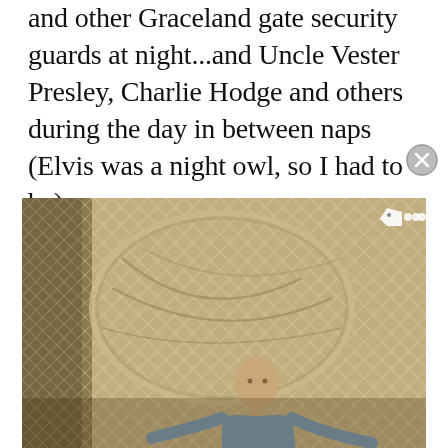and other Graceland gate security guards at night...and Uncle Vester Presley, Charlie Hodge and others during the day in between naps (Elvis was a night owl, so I had to be).
[Figure (photo): A person standing in front of a chain-link fence, holding what appears to be a large circular or oval object. The photo has a warm, vintage tone. There is a tag icon and dots in the upper right corner of the image.]
Advertisements
[Figure (photo): ULTA Beauty advertisement banner showing close-up images of lips with red lipstick, a makeup brush, an eye with dramatic makeup, the ULTA Beauty logo, another dramatic eye close-up, and a 'SHOP NOW' call to action.]